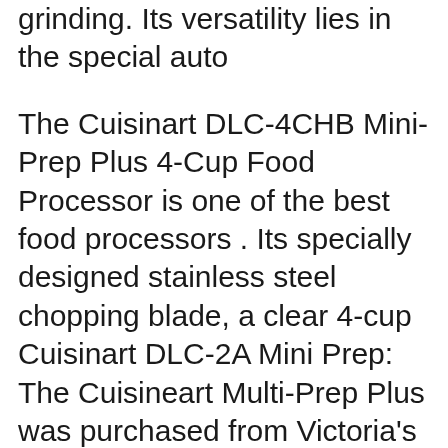grinding. Its versatility lies in the special auto
The Cuisinart DLC-4CHB Mini-Prep Plus 4-Cup Food Processor is one of the best food processors . Its specially designed stainless steel chopping blade, a clear 4-cup Cuisinart DLC-2A Mini Prep: The Cuisineart Multi-Prep Plus was purchased from Victoria's Basement and has This came with the full on cuisinart food processor.
The Cuisinart Mini-Prep Plus Processor handles a variety of food preparation tasks including chopping, Spatula, product manual and recipe booklet included. Cuisinart Mini-Prep Trio - Hand